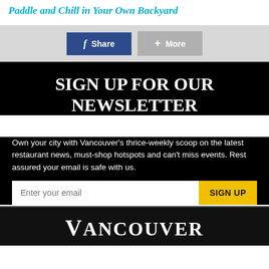Paddle and Chill in Your Own Backyard
[Figure (screenshot): Social share bar with Facebook Share button (blue) and More button (grey)]
SIGN UP FOR OUR NEWSLETTER
Own your city with Vancouver’s thrice-weekly scoop on the latest restaurant news, must-shop hotspots and can’t miss events. Rest assured your email is safe with us.
Enter your email  SIGN UP
VANCOUVER